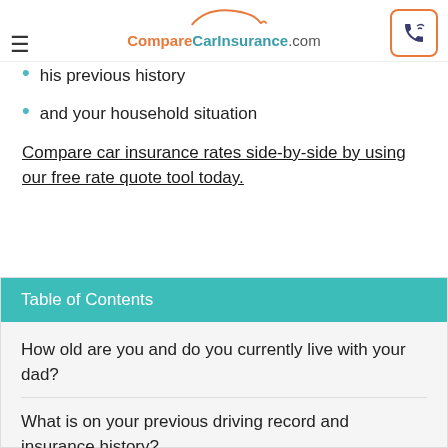CompareCarInsurance.com
his previous history
and your household situation
Compare car insurance rates side-by-side by using our free rate quote tool today.
| Table of Contents |
| --- |
| How old are you and do you currently live with your dad? |
| What is on your previous driving record and insurance history? |
| Who is going to be paying the insurance premium and managing the policy? |